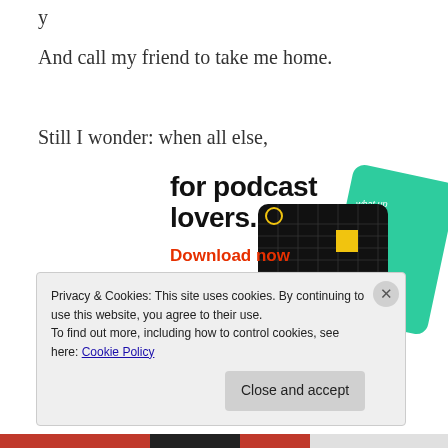y
And call my friend to take me home.
Still I wonder: when all else,
[Figure (illustration): Advertisement for a podcast app showing text 'for podcast lovers.' with 'Download now' in red, and illustrated cards showing '99% INVISIBLE' and other podcast app cards on a dark background with green and blue cards.]
Privacy & Cookies: This site uses cookies. By continuing to use this website, you agree to their use.
To find out more, including how to control cookies, see here: Cookie Policy
Close and accept